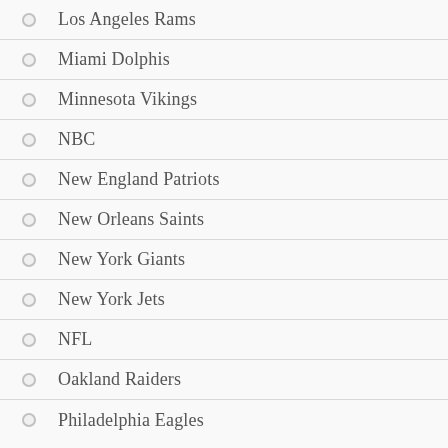Los Angeles Rams
Miami Dolphis
Minnesota Vikings
NBC
New England Patriots
New Orleans Saints
New York Giants
New York Jets
NFL
Oakland Raiders
Philadelphia Eagles